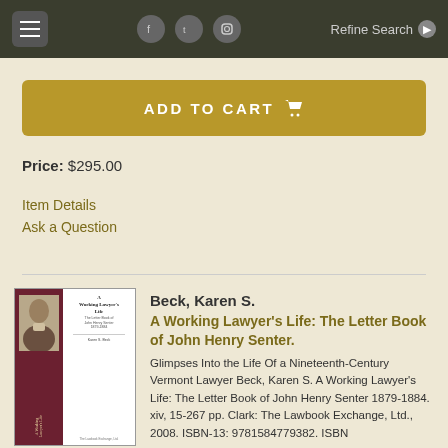Menu | Social icons | Refine Search
ADD TO CART
Price: $295.00
Item Details
Ask a Question
[Figure (photo): Book cover of A Working Lawyer's Life: The Letter Book of John Henry Senter by Karen S. Beck]
Beck, Karen S.
A Working Lawyer's Life: The Letter Book of John Henry Senter.
Glimpses Into the Life Of a Nineteenth-Century Vermont Lawyer Beck, Karen S. A Working Lawyer's Life: The Letter Book of John Henry Senter 1879-1884. xiv, 15-267 pp. Clark: The Lawbook Exchange, Ltd., 2008. ISBN-13: 9781584779382. ISBN